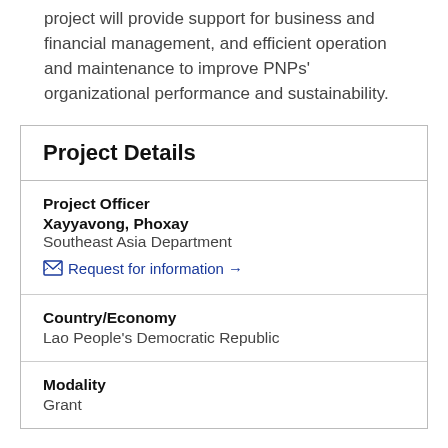project will provide support for business and financial management, and efficient operation and maintenance to improve PNPs' organizational performance and sustainability.
Project Details
Project Officer
Xayyavong, Phoxay
Southeast Asia Department
Request for information →
Country/Economy
Lao People's Democratic Republic
Modality
Grant